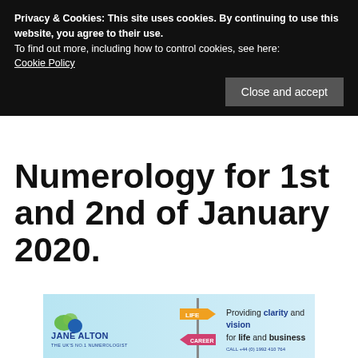Privacy & Cookies: This site uses cookies. By continuing to use this website, you agree to their use.
To find out more, including how to control cookies, see here:
Cookie Policy
Close and accept
Numerology for 1st and 2nd of January 2020.
[Figure (illustration): Jane Alton numerologist advertisement banner with signpost graphic and text: Providing clarity and vision for life and business]
Numerology for 1 and 2/January/2020